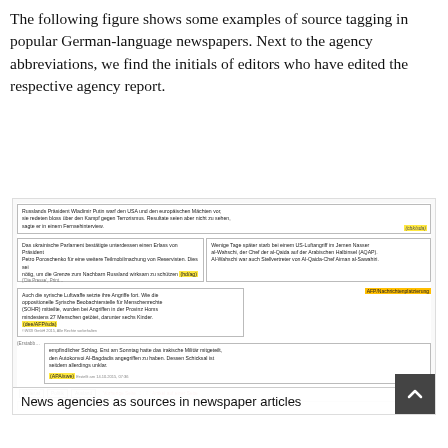The following figure shows some examples of source tagging in popular German-language newspapers. Next to the agency abbreviations, we find the initials of editors who have edited the respective agency report.
[Figure (screenshot): Screenshot of German-language newspaper website articles with highlighted source tags (agency abbreviations and editor initials) marked in yellow/orange. Multiple article snippets visible including references to Putin, Ukraine parliament, Syrian air force, and Iraq convoys. Source tags include (cbk/sda), (hd/ag), (dee/AFP/sda), (APA/swe), and others highlighted in yellow. Navigation bar with 'kurier.at', 'Politik', 'Ausland' tabs visible.]
News agencies as sources in newspaper articles